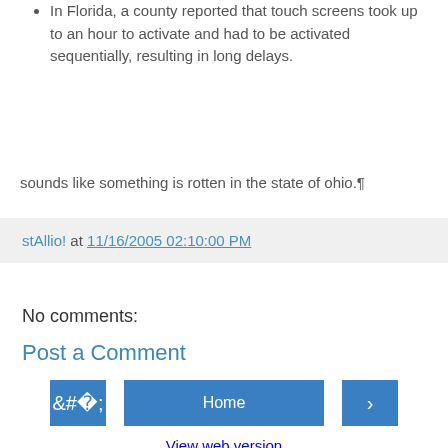In Florida, a county reported that touch screens took up to an hour to activate and had to be activated sequentially, resulting in long delays.
sounds like something is rotten in the state of ohio.¶
stAllio! at 11/16/2005 02:10:00 PM
No comments:
Post a Comment
‹  Home  ›
View web version
Powered by Blogger.